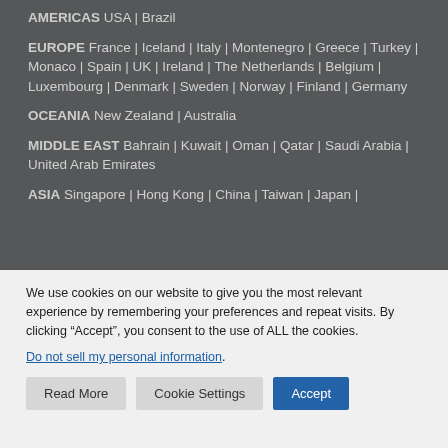AMERICAS  USA | Brazil
EUROPE  France | Iceland | Italy | Montenegro | Greece | Turkey | Monaco | Spain | UK | Ireland | The Netherlands | Belgium | Luxembourg | Denmark | Sweden | Norway | Finland | Germany
OCEANIA  New Zealand | Australia
MIDDLE EAST  Bahrain | Kuwait | Oman | Qatar | Saudi Arabia | United Arab Emirates
ASIA  Singapore | Hong Kong | China | Taiwan | Japan |
We use cookies on our website to give you the most relevant experience by remembering your preferences and repeat visits. By clicking “Accept”, you consent to the use of ALL the cookies.
Do not sell my personal information.